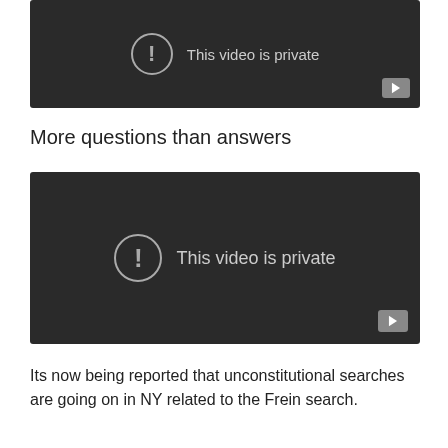[Figure (screenshot): YouTube video placeholder showing 'This video is private' message on dark background with play button icon]
More questions than answers
[Figure (screenshot): YouTube video placeholder showing 'This video is private' message on dark background with play button icon]
Its now being reported that unconstitutional searches are going on in NY related to the Frein search.